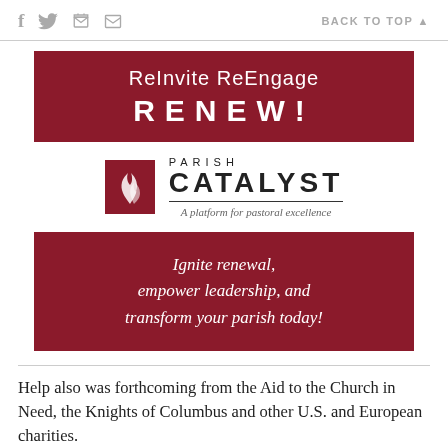f  [twitter]  [print]  [email]    BACK TO TOP ▲
[Figure (infographic): Parish Catalyst advertisement banner. Top dark red rectangle with white text: 'ReInvite ReEngage RENEW!'. Below, Parish Catalyst logo with flame icon and tagline 'A platform for pastoral excellence'. Second dark red rectangle with italic white text: 'Ignite renewal, empower leadership, and transform your parish today!']
Help also was forthcoming from the Aid to the Church in Need, the Knights of Columbus and other U.S. and European charities.